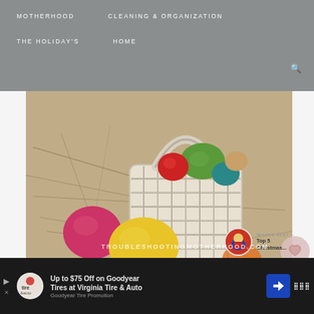MOTHERHOOD   CLEANING & ORGANIZATION   THE HOLIDAY'S   HOME
[Figure (photo): Easter basket filled with colorful dyed eggs (red, green, teal, brown) sitting on hay/straw, with additional pink, yellow and red eggs lying in front on hay. White woven basket. Watermark text reads TROUBLESHOOTINGMOTHERHOOD.COM]
WHAT'S NEXT → Top 5 Christmas...
Up to $75 Off on Goodyear Tires at Virginia Tire & Auto Goodyear Tire Promotion